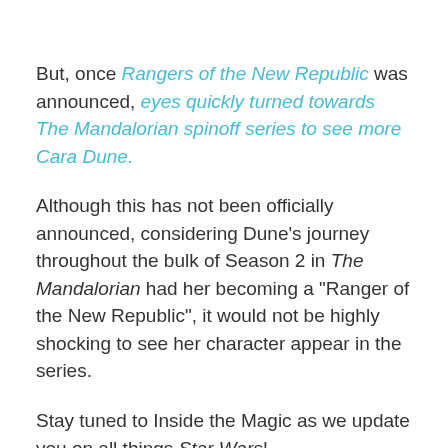But, once Rangers of the New Republic was announced, eyes quickly turned towards The Mandalorian spinoff series to see more Cara Dune.
Although this has not been officially announced, considering Dune's journey throughout the bulk of Season 2 in The Mandalorian had her becoming a "Ranger of the New Republic", it would not be highly shocking to see her character appear in the series.
Stay tuned to Inside the Magic as we update you on all things Star Wars!
Do you want Gina Carano to get a spin-off in Rangers of the New Republic for Disney+?